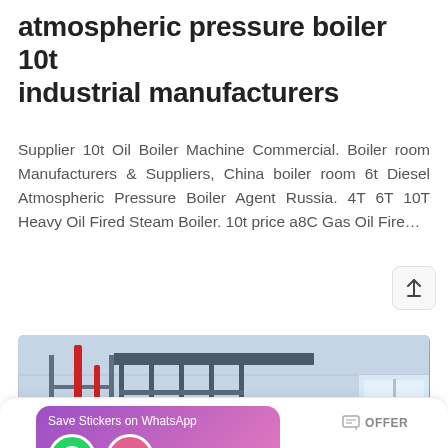atmospheric pressure boiler 10t industrial manufacturers
Supplier 10t Oil Boiler Machine Commercial. Boiler room Manufacturers & Suppliers, China boiler room 6t Diesel Atmospheric Pressure Boiler Agent Russia. 4T 6T 10T Heavy Oil Fired Steam Boiler. 10t price a8C Gas Oil Fire…
[Figure (photo): Industrial atmospheric pressure boiler in a factory setting, showing a large cylindrical gray boiler vessel with red and yellow pipes, structural scaffolding, and industrial background. WhatsApp sticker save overlay visible in lower left.]
MAIL   ADVISORY   OFFER